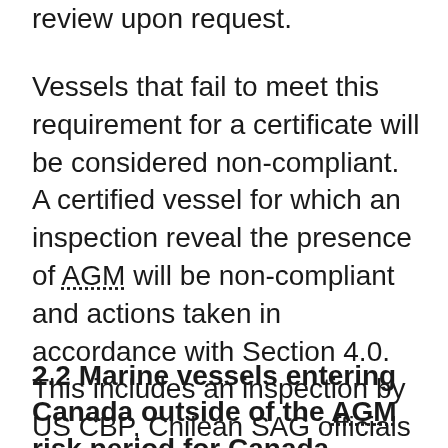...made available to the [entity] for review upon request.
Vessels that fail to meet this requirement for a certificate will be considered non-compliant. A certified vessel for which an inspection reveal the presence of AGM will be non-compliant and actions taken in accordance with Section 4.0. This includes an inspection by US CBP, Chilean SAG officials or New Zealand's MPI that finds and reports AGM life stages.
2.2 Marine vessels entering Canada outside of the AGM risk period for Canada